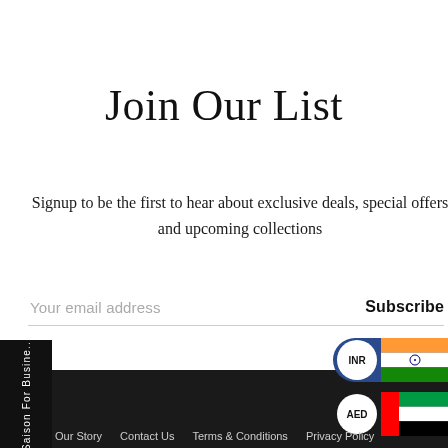Join Our List
Signup to be the first to hear about exclusive deals, special offers and upcoming collections
Your email address   Subscribe
[Figure (infographic): Currency selector buttons: INR with Indian flag and AED with UAE flag on dark blue/dark background pill shapes]
Saison For Busine...
Our Story   Contact Us   Terms & Conditions   Privacy Policy